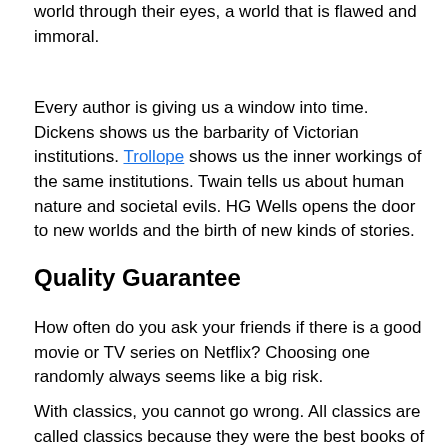world through their eyes, a world that is flawed and immoral.
Every author is giving us a window into time. Dickens shows us the barbarity of Victorian institutions. Trollope shows us the inner workings of the same institutions. Twain tells us about human nature and societal evils. HG Wells opens the door to new worlds and the birth of new kinds of stories.
Quality Guarantee
How often do you ask your friends if there is a good movie or TV series on Netflix? Choosing one randomly always seems like a big risk.
With classics, you cannot go wrong. All classics are called classics because they were the best books of